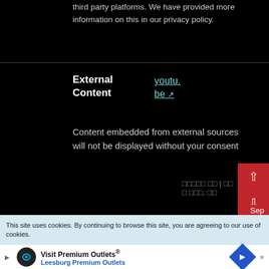third party platforms. We have provided more information on this in our privacy policy.
| External Content | Link |
| --- | --- |
| External Content | youtu.be ↗ |
Content embedded from external sources will not be displayed without your consent
This site uses cookies. By continuing to browse this site, you are agreeing to our use of cookies.
Visit Premium Outlets® Leesburg Premium Outlets